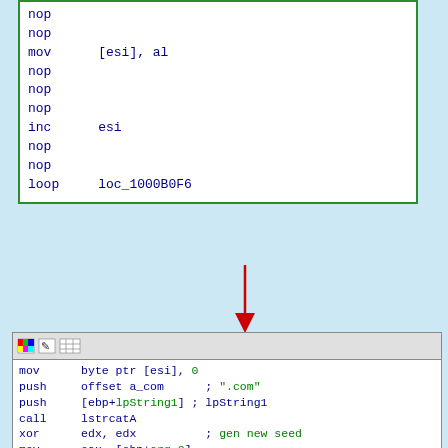[Figure (screenshot): IDA Pro disassembly view showing assembly code with nop, mov, inc, loop instructions in a green-bordered box]
[Figure (screenshot): IDA Pro disassembly panel showing generate_domain function end: mov byte ptr, push offset, call lstrcatA, xor, mov, mul, add, pop registers, leave, retn 8, generate_domain endp]